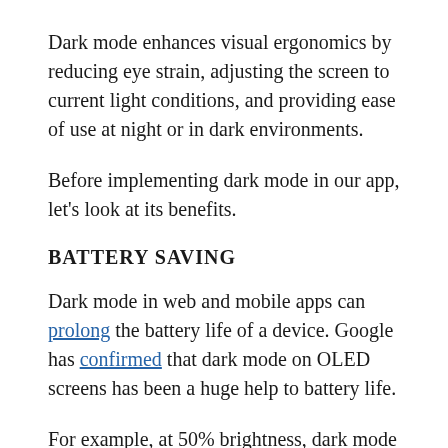Dark mode enhances visual ergonomics by reducing eye strain, adjusting the screen to current light conditions, and providing ease of use at night or in dark environments.
Before implementing dark mode in our app, let's look at its benefits.
BATTERY SAVING
Dark mode in web and mobile apps can prolong the battery life of a device. Google has confirmed that dark mode on OLED screens has been a huge help to battery life.
For example, at 50% brightness, dark mode in the Yu-Tu browser...